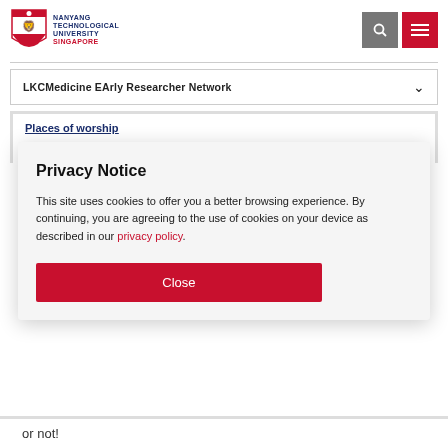[Figure (logo): Nanyang Technological University Singapore logo with shield emblem]
LKCMedicine EArly Researcher Network
Places of worship
Being a harmonious multiracial and multi-
Privacy Notice
This site uses cookies to offer you a better browsing experience. By continuing, you are agreeing to the use of cookies on your device as described in our privacy policy.
Close
or not!